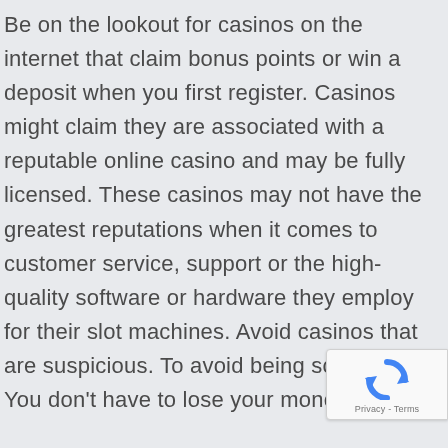Be on the lookout for casinos on the internet that claim bonus points or win a deposit when you first register. Casinos might claim they are associated with a reputable online casino and may be fully licensed. These casinos may not have the greatest reputations when it comes to customer service, support or the high-quality software or hardware they employ for their slot machines. Avoid casinos that are suspicious. To avoid being scammed You don't have to lose your money.
Online casinos are a great option to play games without leaving home. You will never get bored with the wide variety of games offered by casinos. If you're thinking of playing a casino close to your home, be sure to go through our